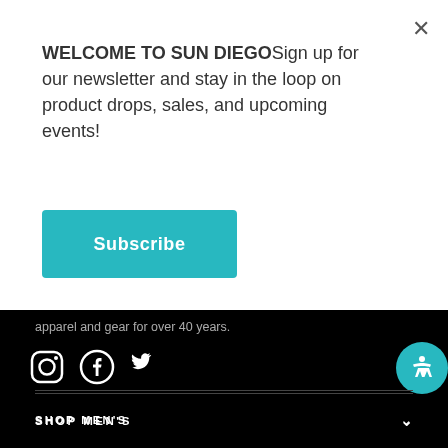WELCOME TO SUN DIEGOSign up for our newsletter and stay in the loop on product drops, sales, and upcoming events!
Subscribe
apparel and gear for over 40 years.
[Figure (illustration): Social media icons: Instagram, Facebook, Twitter in white on black background]
SHOP MEN'S
SHOP WOMEN'S
SUN DIEGO